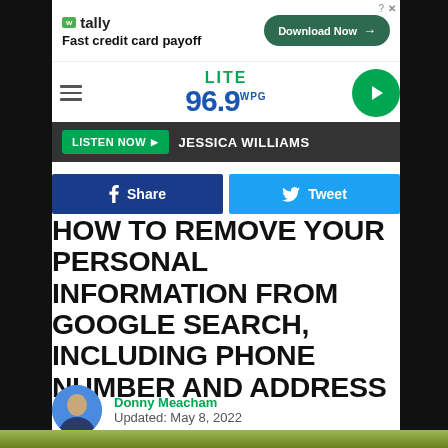[Figure (screenshot): Tally advertisement banner: Fast credit card payoff, Download Now button]
LITE 96.9 WPG radio station header with hamburger menu, logo, and play button
LISTEN NOW ▶  JESSICA WILLIAMS
[Figure (screenshot): Share on Facebook button and Tweet button]
HOW TO REMOVE YOUR PERSONAL INFORMATION FROM GOOGLE SEARCH, INCLUDING PHONE NUMBER AND ADDRESS
Donny Meacham
Updated: May 8, 2022
[Figure (photo): Bottom partial image strip showing greenery]